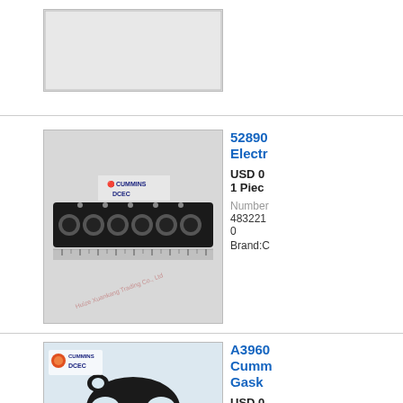[Figure (photo): Partial view of a product image at top of page, cut off]
[Figure (photo): DCEC Cummins head gasket strip product with ruler, in packaging. Watermark: Huize Xuankang Trading Co., Ltd]
52890... Electr...
USD 0...
1 Piece...
Number: 4832210...
Brand:C...
[Figure (photo): DCEC Cummins exhaust manifold gasket, black rubber/metal gasket on white background. Watermark: Huize Xuankang Trading Co., Ltd, www.auto333.com]
A3960... Cumm... Gask...
USD 0...
1 Piece...
Number:
C39313...